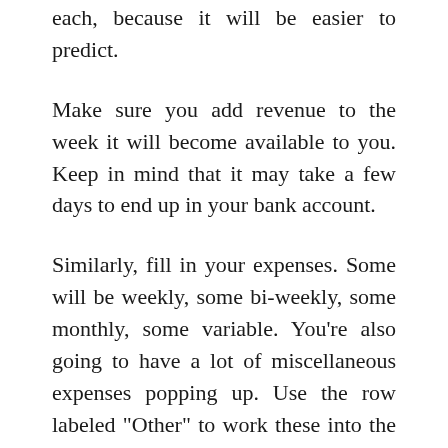each, because it will be easier to predict.
Make sure you add revenue to the week it will become available to you. Keep in mind that it may take a few days to end up in your bank account.
Similarly, fill in your expenses. Some will be weekly, some bi-weekly, some monthly, some variable. You’re also going to have a lot of miscellaneous expenses popping up. Use the row labeled “Other” to work these into the spreadsheet.
Add your opening cash balance for the first